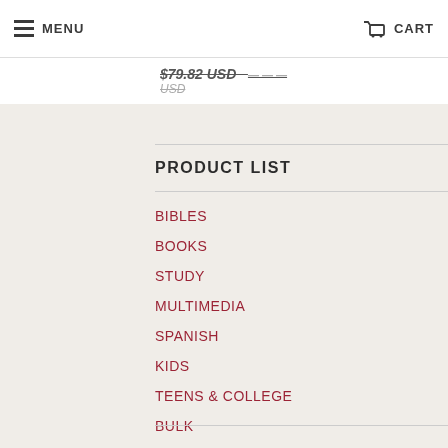MENU  CART
$79.82 USD
USD
PRODUCT LIST
BIBLES
BOOKS
STUDY
MULTIMEDIA
SPANISH
KIDS
TEENS & COLLEGE
BULK